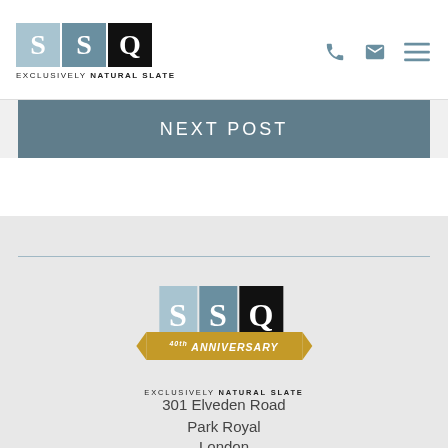[Figure (logo): SSQ Exclusively Natural Slate logo with three colored squares (light blue S, slate blue S, black Q) and tagline text below]
NEXT POST
[Figure (logo): SSQ 40th Anniversary logo with colored squares, gold ribbon banner reading '40th ANNIVERSARY', and tagline 'EXCLUSIVELY NATURAL SLATE']
301 Elveden Road
Park Royal
London